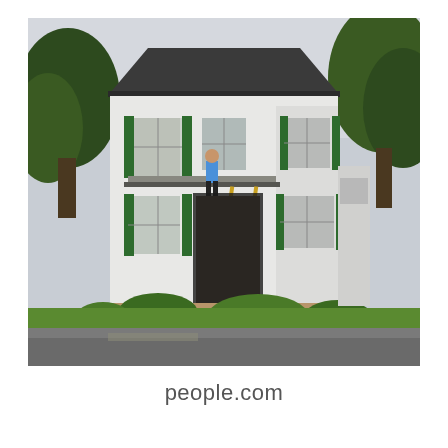[Figure (photo): A two-story white colonial-style house with green shutters undergoing renovation. A person in a blue shirt stands on a porch roof near a window, and another person stands near the front of the house. A ladder leans against the porch. Trees flank the house on both sides. The lawn is overgrown and there is a driveway in the foreground.]
people.com